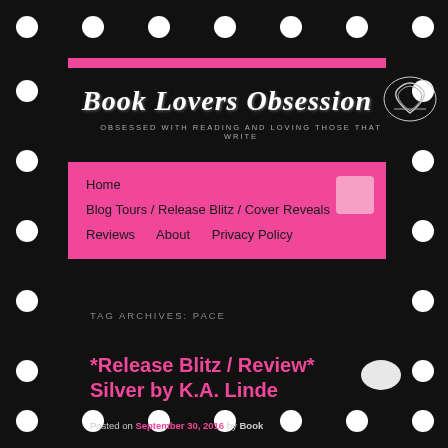[Figure (logo): Book Lovers Obsession blog logo with cursive script text and decorative heart made of books, on black background with white polka dot border]
OBSESSED WITH READING AND LOVING THOSE THAT WRITE
Home
Blog Tours / Release Blitz / Cover Reveals
Reviews   About   Privacy Policy
TAG ARCHIVES: PACE
*Release Blitz / Review* Silver by K.A. Linde
Posted on September 30, 2016 by Book